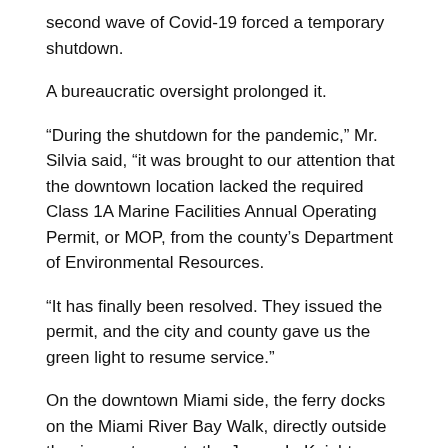second wave of Covid-19 forced a temporary shutdown.
A bureaucratic oversight prolonged it.
“During the shutdown for the pandemic,” Mr. Silvia said, “it was brought to our attention that the downtown location lacked the required Class 1A Marine Facilities Annual Operating Permit, or MOP, from the county’s Department of Environmental Resources.
“It has finally been resolved. They issued the permit, and the city and county gave us the green light to resume service.”
On the downtown Miami side, the ferry docks on the Miami River Bay Walk, directly outside the river entrance to the James L. Knight Convention Center/Hyatt Regency Hotel. In Miami Beach, it arrives and departs from the south side of the Bentley Bay Marina, 520 West Ave.
During the hiatus the engine was overhauled to ensure that the